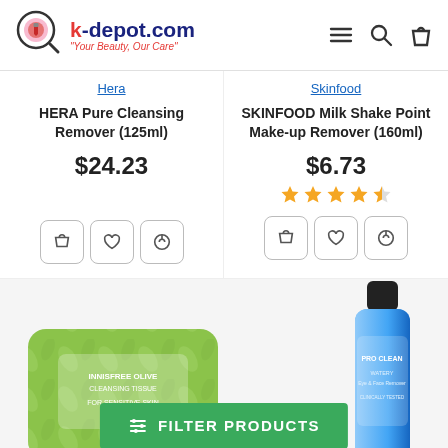k-depot.com — Your Beauty, Our Care
Hera
HERA Pure Cleansing Remover (125ml)
$24.23
Skinfood
SKINFOOD Milk Shake Point Make-up Remover (160ml)
$6.73
[Figure (other): Green wipes packet product image (The Face Shop)]
[Figure (other): Blue bottle Pro Clean make-up remover product image]
FILTER PRODUCTS